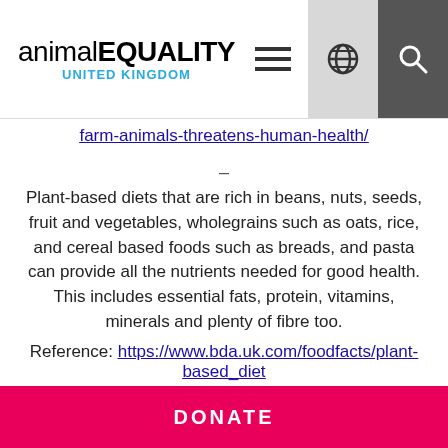animal EQUALITY UNITED KINGDOM [navigation icons]
farm-animals-threatens-human-health/
–
Plant-based diets that are rich in beans, nuts, seeds, fruit and vegetables, wholegrains such as oats, rice, and cereal based foods such as breads, and pasta can provide all the nutrients needed for good health. This includes essential fats, protein, vitamins, minerals and plenty of fibre too.
Reference: https://www.bda.uk.com/foodfacts/plant-based_diet
–
DONATE